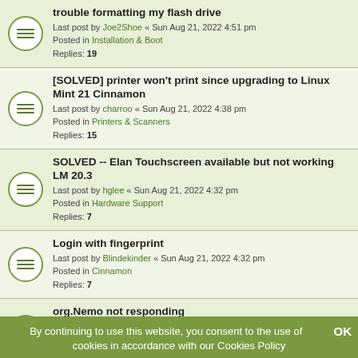trouble formatting my flash drive
Last post by Joe2Shoe « Sun Aug 21, 2022 4:51 pm
Posted in Installation & Boot
Replies: 19
[SOLVED] printer won't print since upgrading to Linux Mint 21 Cinnamon
Last post by charroo « Sun Aug 21, 2022 4:38 pm
Posted in Printers & Scanners
Replies: 15
SOLVED -- Elan Touchscreen available but not working LM 20.3
Last post by hglee « Sun Aug 21, 2022 4:32 pm
Posted in Hardware Support
Replies: 7
Login with fingerprint
Last post by Blindekinder « Sun Aug 21, 2022 4:32 pm
Posted in Cinnamon
Replies: 7
org.Nemo not responding
Last post by sharkpivo « Sun Aug 21, 2022 4:31 pm
Posted in Software & Applications
Replies: 12
Annoying bluetooth glitch on Mint 21
Last post by SallyK « Sun Aug 21, 2022 4:30 pm
Posted in Networking
Replies: 4
Spotify audio interruptions over hdmi (partial)
By continuing to use this website, you consent to the use of cookies in accordance with our Cookies Policy